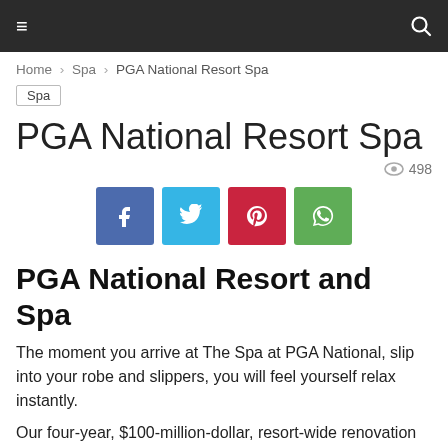≡  🔍
Home › Spa › PGA National Resort Spa
Spa
PGA National Resort Spa
498 views
[Figure (infographic): Social media share buttons: Facebook, Twitter, Pinterest, WhatsApp]
PGA National Resort and Spa
The moment you arrive at The Spa at PGA National, slip into your robe and slippers, you will feel yourself relax instantly.
Our four-year, $100-million-dollar, resort-wide renovation